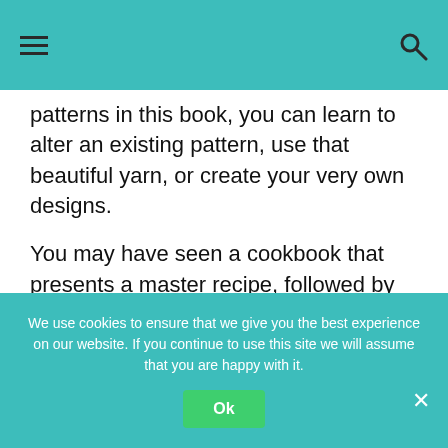≡  🔍
patterns in this book, you can learn to alter an existing pattern, use that beautiful yarn, or create your very own designs.
You may have seen a cookbook that presents a master recipe, followed by ways to change the recipe to create whole new dishes. In this book, the master pattern functions in the same
We use cookies to ensure that we give you the best experience on our website. If you continue to use this site we will assume that you are happy with it.
Ok